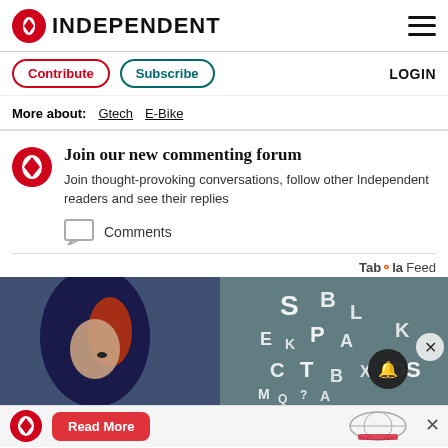INDEPENDENT
Contribute  Subscribe  LOGIN
More about: Gtech E-Bike
Join our new commenting forum
Join thought-provoking conversations, follow other Independent readers and see their replies
Comments
Taboola Feed
[Figure (photo): Woman with colorful hair and letters/characters floating around her, used as Taboola feed thumbnail image]
Read More